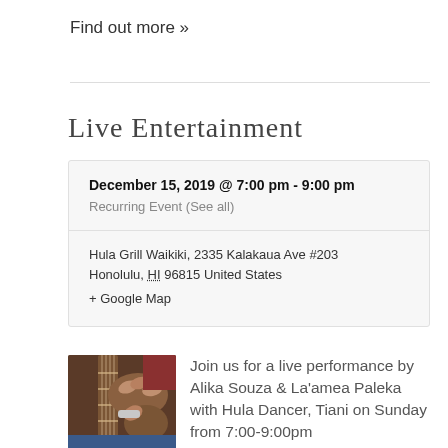Find out more »
Live Entertainment
December 15, 2019 @ 7:00 pm - 9:00 pm
Recurring Event (See all)
Hula Grill Waikiki, 2335 Kalakaua Ave #203
Honolulu, HI 96815 United States
+ Google Map
[Figure (photo): Hands playing a guitar/stringed instrument, close-up photo]
Join us for a live performance by Alika Souza & La'amea Paleka with Hula Dancer, Tiani on Sunday from 7:00-9:00pm